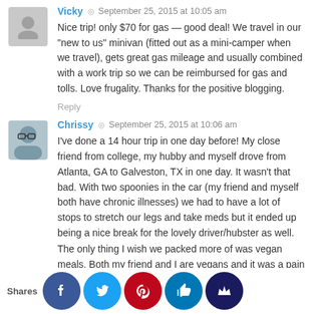Vicky · September 25, 2015 at 10:05 am
Nice trip! only $70 for gas — good deal! We travel in our "new to us" minivan (fitted out as a mini-camper when we travel), gets great gas mileage and usually combined with a work trip so we can be reimbursed for gas and tolls. Love frugality. Thanks for the positive blogging.
Reply
Chrissy · September 25, 2015 at 10:06 am
I've done a 14 hour trip in one day before! My close friend from college, my hubby and myself drove from Atlanta, GA to Galveston, TX in one day. It wasn't that bad. With two spoonies in the car (my friend and myself both have chronic illnesses) we had to have a lot of stops to stretch our legs and take meds but it ended up being a nice break for the lovely driver/hubster as well.
The only thing I wish we packed more of was vegan meals. Both my friend and I are vegans and it was a pain to find food that w... t in t... Still ... t was... fun t... and was nice se... the various states alon... e way
Shares